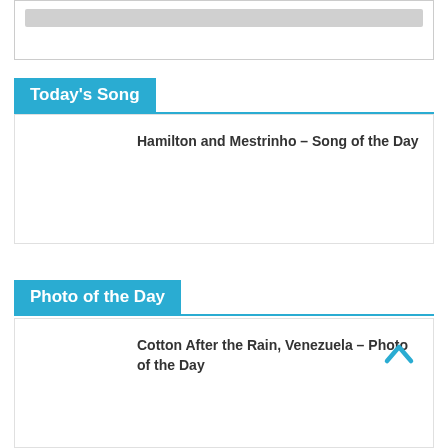[Figure (screenshot): Top box with grey search bar / input element]
Today's Song
Hamilton and Mestrinho – Song of the Day
Photo of the Day
Cotton After the Rain, Venezuela – Photo of the Day